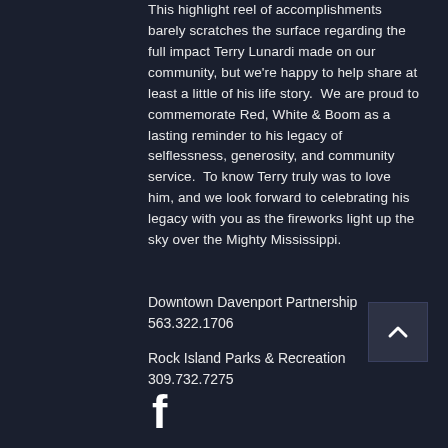This highlight reel of accomplishments barely scratches the surface regarding the full impact Terry Lunardi made on our community, but we're happy to help share at least a little of his life story.  We are proud to commemorate Red, White & Boom as a lasting reminder to his legacy of selflessness, generosity, and community service.  To know Terry truly was to love him, and we look forward to celebrating his legacy with you as the fireworks light up the sky over the Mighty Mississippi.
Downtown Davenport Partnership
563.322.1706
Rock Island Parks & Recreation
309.732.7275
[Figure (logo): Facebook 'f' logo icon in white]
[Figure (other): Back to top arrow button - dark square with upward chevron arrow]